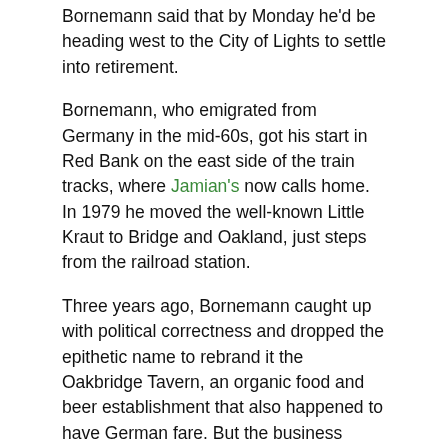Bornemann said that by Monday he'd be heading west to the City of Lights to settle into retirement.
Bornemann, who emigrated from Germany in the mid-60s, got his start in Red Bank on the east side of the train tracks, where Jamian's now calls home. In 1979 he moved the well-known Little Kraut to Bridge and Oakland, just steps from the railroad station.
Three years ago, Bornemann caught up with political correctness and dropped the epithetic name to rebrand it the Oakbridge Tavern, an organic food and beer establishment that also happened to have German fare. But the business struggled to find a following, and a foreclosure action was initiated by a lender a year ago, county records indicate.
After the most recent Oktoberfest, Bornemann said he decided to call it quits because his staff was becoming reliably unreliable. Money was often missing, he said, and there wasn't a proper level of respect for the trade or management.
“I felt, like, put against a wall,” said Bornemann in his heavy German accent. “I couldn’t do it anymore.”
Now Boudour will write the next chapter for 115 Oakland Street. He's experienced that it won't take long to market Oakbridge...